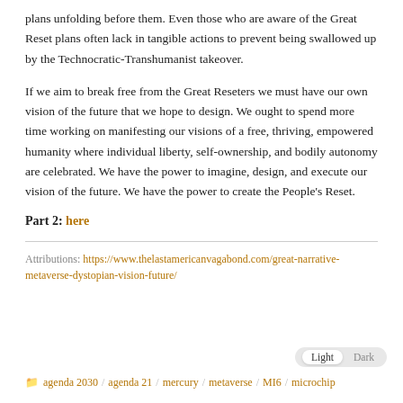plans unfolding before them. Even those who are aware of the Great Reset plans often lack in tangible actions to prevent being swallowed up by the Technocratic-Transhumanist takeover.
If we aim to break free from the Great Reseters we must have our own vision of the future that we hope to design. We ought to spend more time working on manifesting our visions of a free, thriving, empowered humanity where individual liberty, self-ownership, and bodily autonomy are celebrated. We have the power to imagine, design, and execute our vision of the future. We have the power to create the People's Reset.
Part 2: here
Attributions: https://www.thelastamericanvagabond.com/great-narrative-metaverse-dystopian-vision-future/
agenda 2030 / agenda 21 / mercury / metaverse / MI6 / microchip